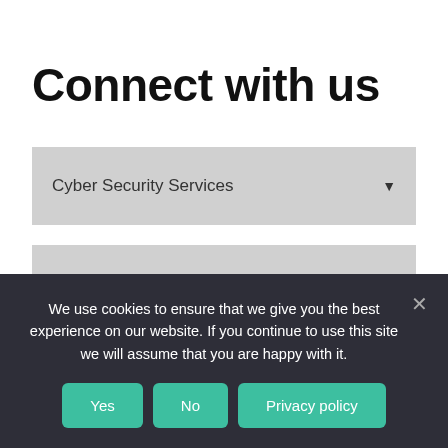Connect with us
Cyber Security Services
First name*
We use cookies to ensure that we give you the best experience on our website. If you continue to use this site we will assume that you are happy with it.
Yes
No
Privacy policy